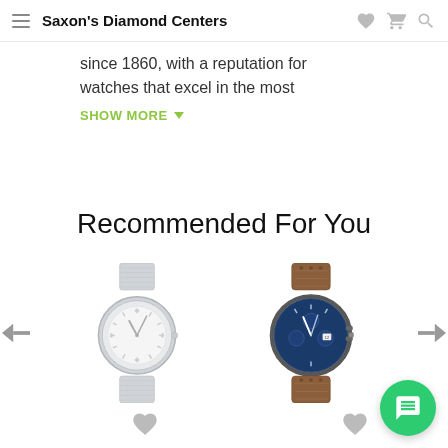Saxon's Diamond Centers
since 1860, with a reputation for watches that excel in the most
SHOW MORE
Recommended For You
[Figure (photo): Silver bracelet watch with white dial and diamond hour markers]
[Figure (photo): Chronograph watch with blue dial and brown leather strap]